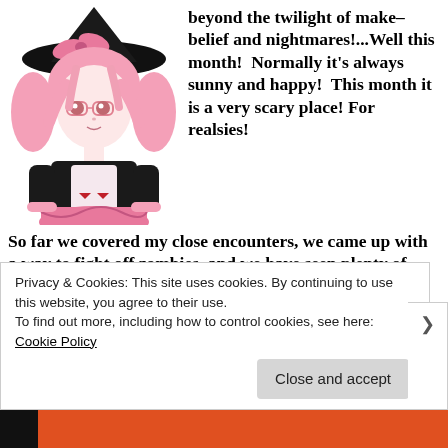[Figure (illustration): Anime-style character with pink hair, glasses, wearing a black witch hat with a pink bow and a pink and black dress with ruffles. The character has a cute, slightly surprised expression.]
beyond the twilight of make-belief and nightmares!...Well this month!  Normally it's always sunny and happy!  This month it is a very scary place! For realsies!
So far we covered my close encounters, we came up with a way to fight off zombies..and we have seen plenty of supernatural spooky stuff on the blog!  So for a change I would like to talk about the mundane. These are my TOP 5 fears!
Privacy & Cookies: This site uses cookies. By continuing to use this website, you agree to their use.
To find out more, including how to control cookies, see here: Cookie Policy
Close and accept